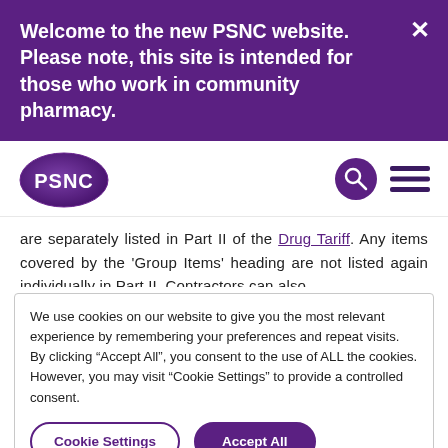Welcome to the new PSNC website. Please note, this site is intended for those who work in community pharmacy.
[Figure (logo): PSNC logo — white text 'PSNC' inside a purple oval]
are separately listed in Part II of the Drug Tariff. Any items covered by the 'Group Items' heading are not listed again individually in Part II. Contractors can also
We use cookies on our website to give you the most relevant experience by remembering your preferences and repeat visits. By clicking "Accept All", you consent to the use of ALL the cookies. However, you may visit "Cookie Settings" to provide a controlled consent.